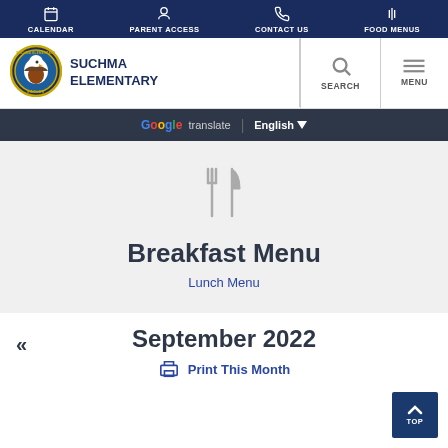CALENDAR | PARENT ACCESS | CONTACT US | FOOD MENUS
[Figure (logo): Suchma Elementary Eagles school logo - circular badge with eagle]
SUCHMA ELEMENTARY
Google translate | English
[Figure (illustration): Fork and knife icon for menu]
Breakfast Menu
Lunch Menu
September 2022
Print This Month